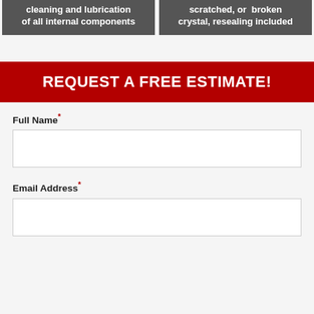cleaning and lubrication of all internal components
scratched, or broken crystal, resealing included
REQUEST A FREE ESTIMATE!
Full Name *
Email Address *